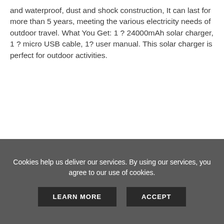and waterproof, dust and shock construction, It can last for more than 5 years, meeting the various electricity needs of outdoor travel. What You Get: 1 ? 24000mAh solar charger, 1 ? micro USB cable, 1? user manual. This solar charger is perfect for outdoor activities.
[Figure (logo): eBay logo with 'right now on' text above and 'THE BEST PRODUCTS ON EBAY' tagline beside it]
[Figure (photo): A solar power bank/charger with black solar panels on top and orange USB ports at the bottom, shown at an angle]
Cookies help us deliver our services. By using our services, you agree to our use of cookies.
LEARN MORE   ACCEPT